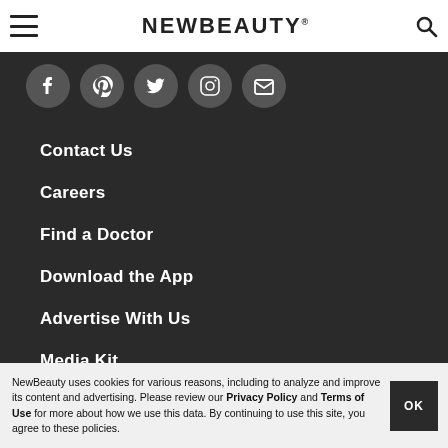NEWBEAUTY
[Figure (infographic): Row of 5 social media icon circles: Facebook, Pinterest, Twitter, Instagram, Email/Newsletter]
Contact Us
Careers
Find a Doctor
Download the App
Advertise With Us
Media Kit
Brain Trust
NewBeauty uses cookies for various reasons, including to analyze and improve its content and advertising. Please review our Privacy Policy and Terms of Use for more about how we use this data. By continuing to use this site, you agree to these policies.